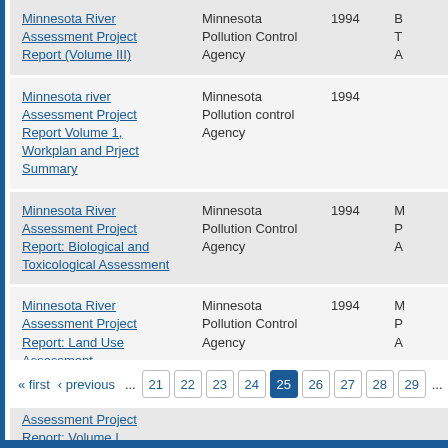| Title | Author/Organization | Year |  |
| --- | --- | --- | --- |
| Minnesota River Assessment Project Report (Volume III) | Minnesota Pollution Control Agency | 1994 | B T A |
| Minnesota river Assessment Project Report Volume 1, Workplan and Prject Summary | Minnesota Pollution control Agency | 1994 |  |
| Minnesota River Assessment Project Report: Biological and Toxicological Assessment | Minnesota Pollution Control Agency | 1994 | M P A |
| Minnesota River Assessment Project Report: Land Use Assessment | Minnesota Pollution Control Agency | 1994 | M P A |
| Minnesota River Assessment Project Report: Volume I, Workplan and Project Summary |  | 1994 | M |
« first  ‹ previous  ...  21  22  23  24  25  26  27  28  29  ...